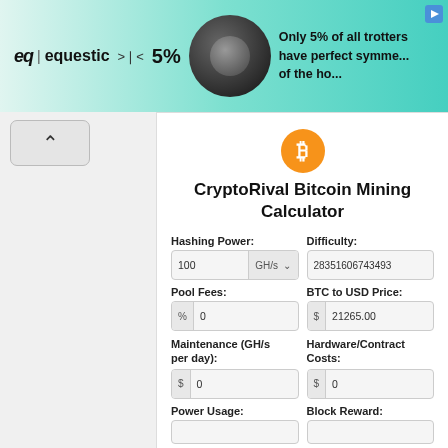[Figure (infographic): Equestic advertisement banner with logo, 5% text, headphone image, and text 'Only 5% of all trotters have perfect symmetry of the ho']
CryptoRival Bitcoin Mining Calculator
Hashing Power:
Difficulty:
100 GH/s
28351606743493
Pool Fees:
BTC to USD Price:
% 0
$ 21265.00
Maintenance (GH/s per day):
Hardware/Contract Costs:
$ 0
$ 0
Power Usage:
Block Reward: